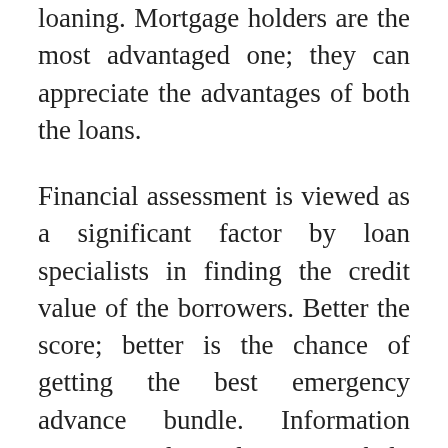loaning. Mortgage holders are the most advantaged one; they can appreciate the advantages of both the loans.
Financial assessment is viewed as a significant factor by loan specialists in finding the credit value of the borrowers. Better the score; better is the chance of getting the best emergency advance bundle. Information using a credit card score can help you locate the best emergency advance. In the event that you do not have the foggiest idea about your FICO rating, at it can be